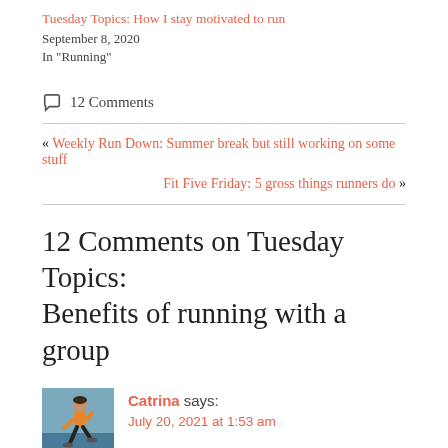Tuesday Topics: How I stay motivated to run
September 8, 2020
In "Running"
○ 12 Comments
« Weekly Run Down: Summer break but still working on some stuff
Fit Five Friday: 5 gross things runners do »
12 Comments on Tuesday Topics: Benefits of running with a group
Catrina says:
July 20, 2021 at 1:53 am